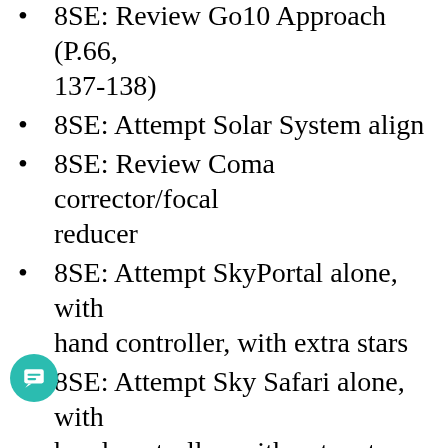8SE: Review Go10 Approach (P.66, 137-138)
8SE: Attempt Solar System align
8SE: Review Coma corrector/focal reducer
8SE: Attempt SkyPortal alone, with hand controller, with extra stars
8SE: Attempt Sky Safari alone, with hand controller, with extra stars
8SE: Test Slew Limits (P.135)
8SE: Test Display settings (P.141)
8SE: Test Cord-wrap settings (P.142)